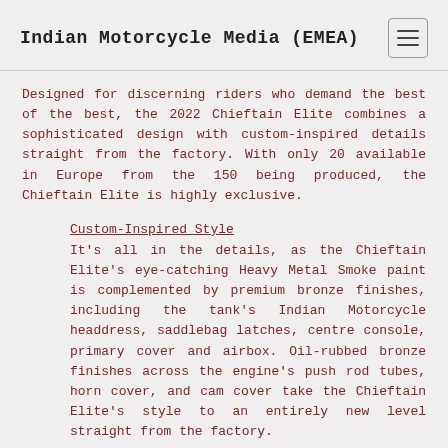Indian Motorcycle Media (EMEA)
Designed for discerning riders who demand the best of the best, the 2022 Chieftain Elite combines a sophisticated design with custom-inspired details straight from the factory. With only 20 available in Europe from the 150 being produced, the Chieftain Elite is highly exclusive.
Custom-Inspired Style
It's all in the details, as the Chieftain Elite's eye-catching Heavy Metal Smoke paint is complemented by premium bronze finishes, including the tank's Indian Motorcycle headdress, saddlebag latches, centre console, primary cover and airbox. Oil-rubbed bronze finishes across the engine's push rod tubes, horn cover, and cam cover take the Chieftain Elite's style to an entirely new level straight from the factory.
The Chieftain Elite's streamlined fairing, slammed saddlebags with sharp lines and hard edges contribute to the bike's aggressive demeanour. In addition, LED saddlebag lights, a two-up comfort seat, low suspension,